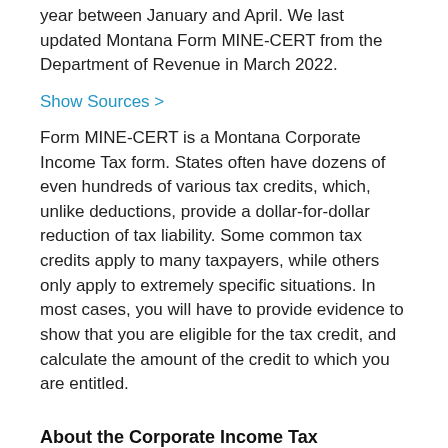year between January and April. We last updated Montana Form MINE-CERT from the Department of Revenue in March 2022.
Show Sources >
Form MINE-CERT is a Montana Corporate Income Tax form. States often have dozens of even hundreds of various tax credits, which, unlike deductions, provide a dollar-for-dollar reduction of tax liability. Some common tax credits apply to many taxpayers, while others only apply to extremely specific situations. In most cases, you will have to provide evidence to show that you are eligible for the tax credit, and calculate the amount of the credit to which you are entitled.
About the Corporate Income Tax
The IRS and most states require corporations to file an income tax return, with the exact filing requirements depending on the type of company.